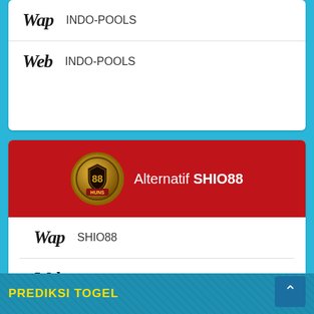Wap  INDO-POOLS
Web  INDO-POOLS
[Figure (logo): SHIO88 badge logo with gold shield on red header]
Alternatif SHIO88
Wap  SHIO88
Web  SHIO88
PREDIKSI TOGEL